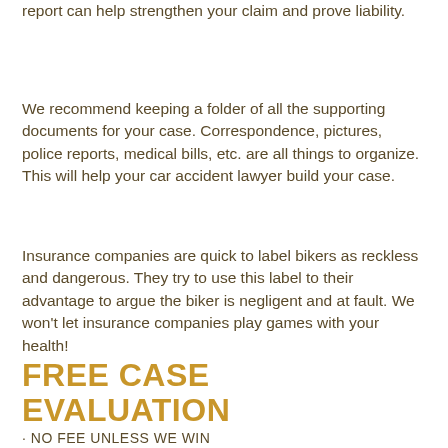report can help strengthen your claim and prove liability.
We recommend keeping a folder of all the supporting documents for your case. Correspondence, pictures, police reports, medical bills, etc. are all things to organize. This will help your car accident lawyer build your case.
Insurance companies are quick to label bikers as reckless and dangerous. They try to use this label to their advantage to argue the biker is negligent and at fault. We won't let insurance companies play games with your health!
FREE CASE EVALUATION
NO FEE UNLESS WE WIN